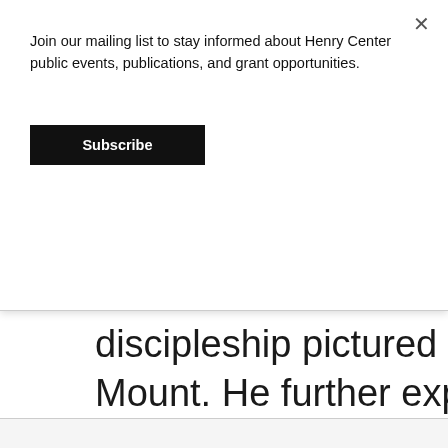Join our mailing list to stay informed about Henry Center public events, publications, and grant opportunities.
Subscribe
discipleship pictured in the S… Mount. He further explains: “… for eternity because it is alrea… eternal.” Willard sees in the se… answers to the two biggest q…